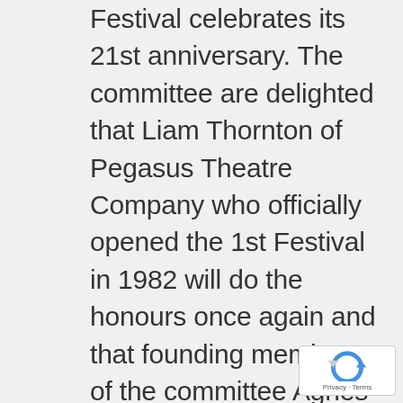Festival celebrates its 21st anniversary. The committee are delighted that Liam Thornton of Pegasus Theatre Company who officially opened the 1st Festival in 1982 will do the honours once again and that founding members of the committee Agnes and Tom Lenihan, Mary Moran, Mary Fleming are still actively involved. The Festival has been held each year with the exception of 2001 due to the Foot and Mouth situation.

The Festival opens on Friday 14th